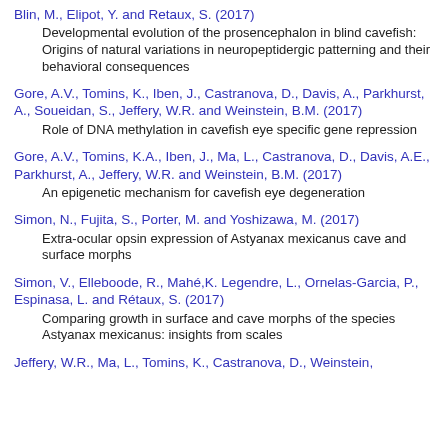Blin, M., Elipot, Y. and Retaux, S. (2017)
Developmental evolution of the prosencephalon in blind cavefish: Origins of natural variations in neuropeptidergic patterning and their behavioral consequences
Gore, A.V., Tomins, K., Iben, J., Castranova, D., Davis, A., Parkhurst, A., Soueidan, S., Jeffery, W.R. and Weinstein, B.M. (2017)
Role of DNA methylation in cavefish eye specific gene repression
Gore, A.V., Tomins, K.A., Iben, J., Ma, L., Castranova, D., Davis, A.E., Parkhurst, A., Jeffery, W.R. and Weinstein, B.M. (2017)
An epigenetic mechanism for cavefish eye degeneration
Simon, N., Fujita, S., Porter, M. and Yoshizawa, M. (2017)
Extra-ocular opsin expression of Astyanax mexicanus cave and surface morphs
Simon, V., Elleboode, R., Mahé,K. Legendre, L., Ornelas-Garcia, P., Espinasa, L. and Rétaux, S. (2017)
Comparing growth in surface and cave morphs of the species Astyanax mexicanus: insights from scales
Jeffery, W.R., Ma, L., Tomins, K., Castranova, D., Weinstein,